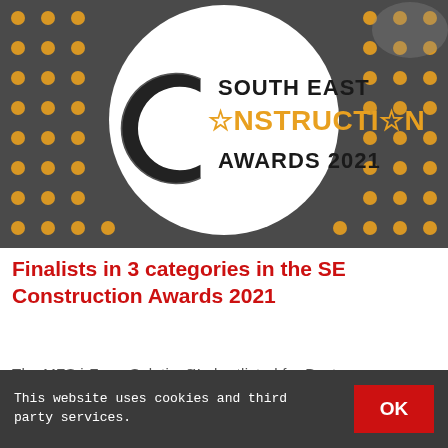[Figure (logo): South East Construction Awards 2021 logo — white circle on dark grey background with orange polka dots, featuring a stylized C shape and star-replaced Os in CONSTRUCTION]
Finalists in 3 categories in the SE Construction Awards 2021
The MFS i-Form Solution™ shortlisted for Best
This website uses cookies and third party services.